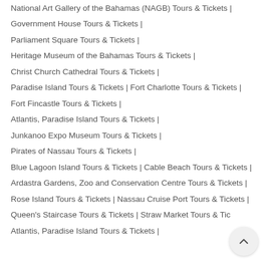National Art Gallery of the Bahamas (NAGB) Tours & Tickets |
Government House Tours & Tickets |
Parliament Square Tours & Tickets |
Heritage Museum of the Bahamas Tours & Tickets |
Christ Church Cathedral Tours & Tickets |
Paradise Island Tours & Tickets | Fort Charlotte Tours & Tickets |
Fort Fincastle Tours & Tickets |
Atlantis, Paradise Island Tours & Tickets |
Junkanoo Expo Museum Tours & Tickets |
Pirates of Nassau Tours & Tickets |
Blue Lagoon Island Tours & Tickets | Cable Beach Tours & Tickets |
Ardastra Gardens, Zoo and Conservation Centre Tours & Tickets |
Rose Island Tours & Tickets | Nassau Cruise Port Tours & Tickets |
Queen's Staircase Tours & Tickets | Straw Market Tours & Tic…
Atlantis, Paradise Island Tours & Tickets |